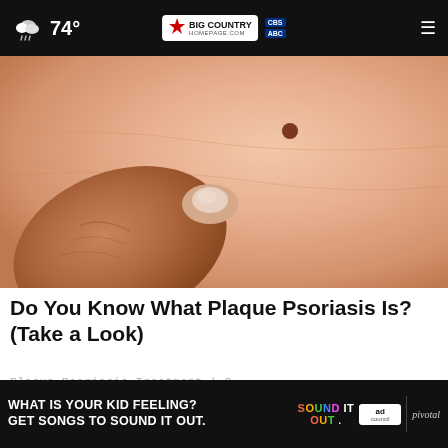74° | Big Country Homepage | CBS ABC
[Figure (photo): Close-up photo of a person's skin with a mole and a thumb pressing on the skin surface, depicting plaque psoriasis skin condition]
Do You Know What Plaque Psoriasis Is? (Take a Look)
Plaque Psoriasis Treatment | S
[Figure (photo): Outdoor photo showing a construction or railway scene with blue jeans and dark ground visible, partially shown]
[Figure (screenshot): Ad banner: WHAT IS YOUR KID FEELING? GET SONGS TO SOUND IT OUT. Sound It Out | Ad Council | pivotal]